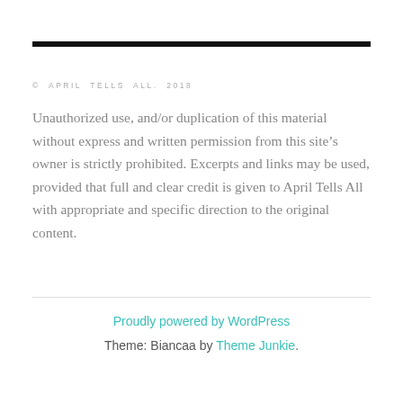© APRIL TELLS ALL. 2018
Unauthorized use, and/or duplication of this material without express and written permission from this site's owner is strictly prohibited. Excerpts and links may be used, provided that full and clear credit is given to April Tells All with appropriate and specific direction to the original content.
Proudly powered by WordPress
Theme: Biancaa by Theme Junkie.